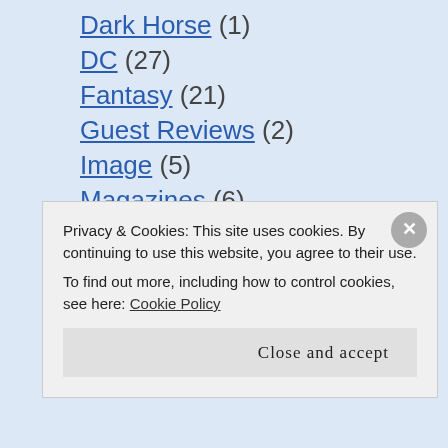Dark Horse (1)
DC (27)
Fantasy (21)
Guest Reviews (2)
Image (5)
Magazines (6)
Marvel (24)
Modern Pulp (8)
Music (1)
Mystery (40)
Privacy & Cookies: This site uses cookies. By continuing to use this website, you agree to their use. To find out more, including how to control cookies, see here: Cookie Policy
Close and accept